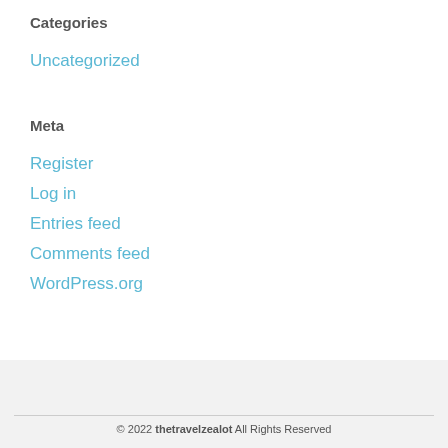Categories
Uncategorized
Meta
Register
Log in
Entries feed
Comments feed
WordPress.org
© 2022 thetravelzealot All Rights Reserved